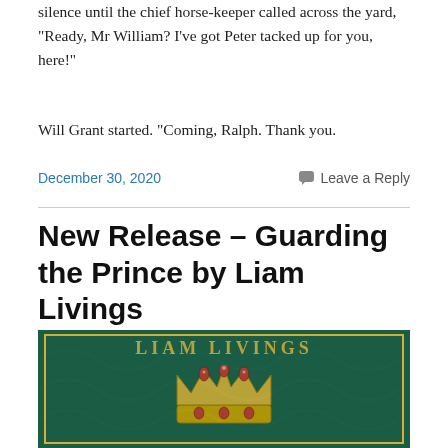silence until the chief horse-keeper called across the yard, “Ready, Mr William? I’ve got Peter tacked up for you, here!”
Will Grant started. “Coming, Ralph. Thank you.
December 30, 2020    Leave a Reply
New Release – Guarding the Prince by Liam Livings
[Figure (illustration): Book cover for 'Guarding the Prince' by Liam Livings showing a jewelled crown on a dark green ornate background with gold bracket decorations and the author name 'LIAM LIVINGS' in gold letters at the top.]